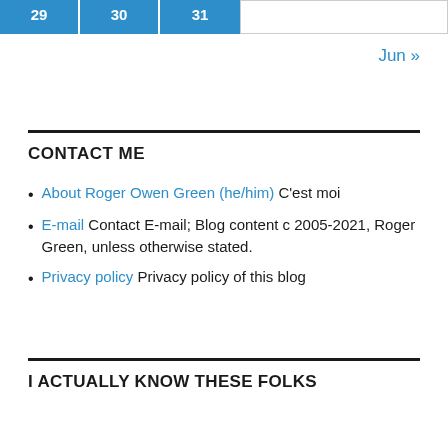| 29 | 30 | 31 |  |
| --- | --- | --- | --- |
|  |
Jun »
CONTACT ME
About Roger Owen Green (he/him) C'est moi
E-mail Contact E-mail; Blog content c 2005-2021, Roger Green, unless otherwise stated.
Privacy policy Privacy policy of this blog
I ACTUALLY KNOW THESE FOLKS